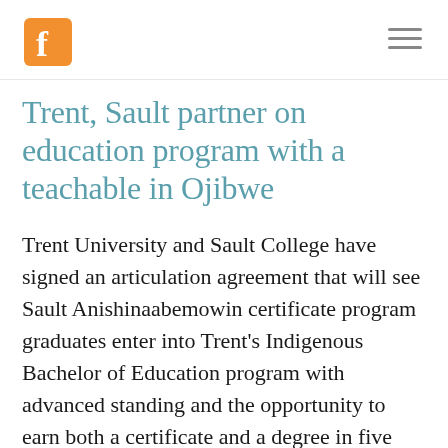[Logo: F icon] [Hamburger menu]
Trent, Sault partner on education program with a teachable in Ojibwe
Trent University and Sault College have signed an articulation agreement that will see Sault Anishinaabemowin certificate program graduates enter into Trent's Indigenous Bachelor of Education program with advanced standing and the opportunity to earn both a certificate and a degree in five